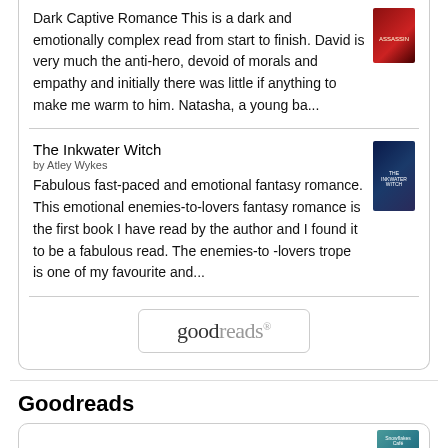Dark Captive Romance This is a dark and emotionally complex read from start to finish. David is very much the anti-hero, devoid of morals and empathy and initially there was little if anything to make me warm to him. Natasha, a young ba...
The Inkwater Witch
by Atley Wykes
Fabulous fast-paced and emotional fantasy romance. This emotional enemies-to-lovers fantasy romance is the first book I have read by the author and I found it to be a fabulous read. The enemies-to -lovers trope is one of my favourite and...
[Figure (logo): Goodreads logo button with rounded rectangle border]
Goodreads
Snowflakes Over The Starfish Café